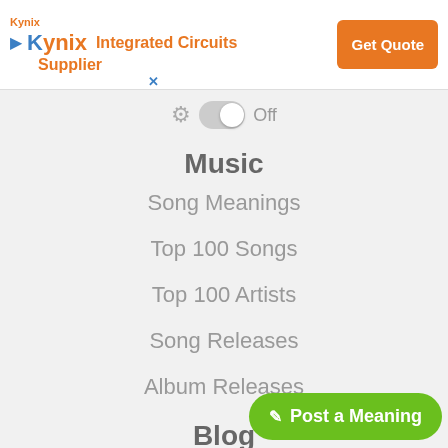[Figure (infographic): Kynix Integrated Circuits Supplier advertisement banner with orange Get Quote button]
[Figure (infographic): Toggle switch showing On state with gear icon]
Music
Song Meanings
Top 100 Songs
Top 100 Artists
Song Releases
Album Releases
Blog
Trending Topics
Song Analysis
Entertainment
[Figure (infographic): Green Post a Meaning button with pencil icon]